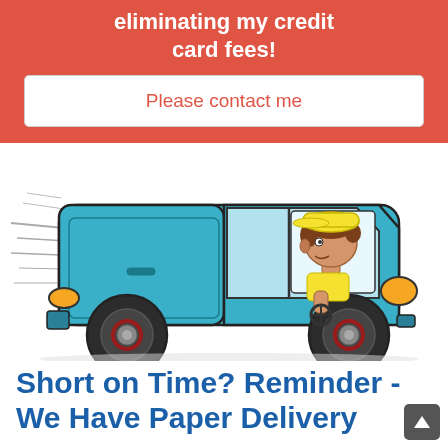eliminating my credit card fees!
Please contact me
[Figure (illustration): Cartoon illustration of a blue delivery van speeding to the right, with a driver wearing a yellow cap visible through the open side window, speed lines on the left side of the van indicating fast movement, orange headlights, and large black wheels.]
Short on Time? Reminder - We Have Paper Delivery